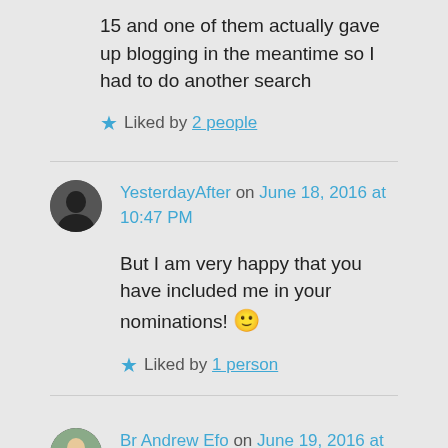15 and one of them actually gave up blogging in the meantime so I had to do another search
Liked by 2 people
YesterdayAfter on June 18, 2016 at 10:47 PM
But I am very happy that you have included me in your nominations! 🙂
Liked by 1 person
Br Andrew Efo on June 19, 2016 at